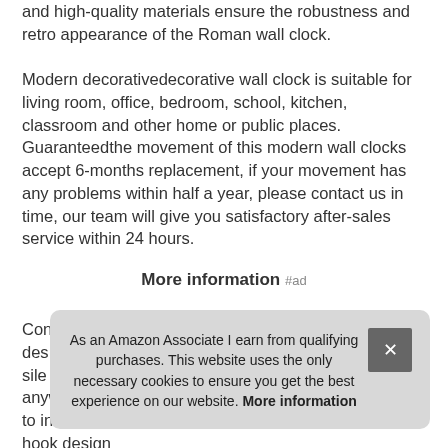and high-quality materials ensure the robustness and retro appearance of the Roman wall clock.
Modern decorativedecorative wall clock is suitable for living room, office, bedroom, school, kitchen, classroom and other home or public places. Guaranteedthe movement of this modern wall clocks accept 6-months replacement, if your movement has any problems within half a year, please contact us in time, our team will give you satisfactory after-sales service within 24 hours.
More information #ad
Con... des... sile... anyw... Easy to install the hook design has less damage to
As an Amazon Associate I earn from qualifying purchases. This website uses the only necessary cookies to ensure you get the best experience on our website. More information